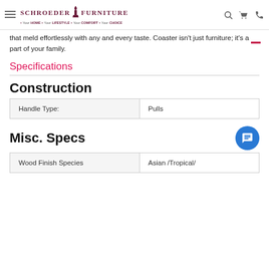Schroeder Furniture • Your HOME • Your LIFESTYLE • Your COMFORT • Your CHOICE
that meld effortlessly with any and every taste. Coaster isn't just furniture; it's a part of your family.
Specifications
Construction
| Handle Type: | Pulls |
| --- | --- |
| Handle Type: | Pulls |
Misc. Specs
| Wood Finish Species | Asian /Tropical/ |
| --- | --- |
| Wood Finish Species | Asian /Tropical/ |